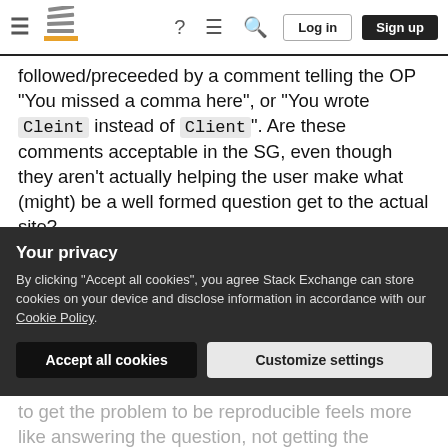Stack Exchange navigation bar with hamburger menu, logo, help, chat, search icons, Log in and Sign up buttons
followed/preceeded by a comment telling the OP "You missed a comma here", or "You wrote Cleint instead of Client". Are these comments acceptable in the SG, even though they aren't actually helping the user make what (might) be a well formed question get to the actual site?
As for non-reproducible; if we see a question that is good, but isn't reproducible, should these be resolved before being accepted? A non-reproducible problem is very likely to get closed, so the approval seems "wrong", but at the same time having code
Your privacy
By clicking "Accept all cookies", you agree Stack Exchange can store cookies on your device and disclose information in accordance with our Cookie Policy.
Accept all cookies   Customize settings
to get the problem to be reproducible feels more like answering the question, not getting the question